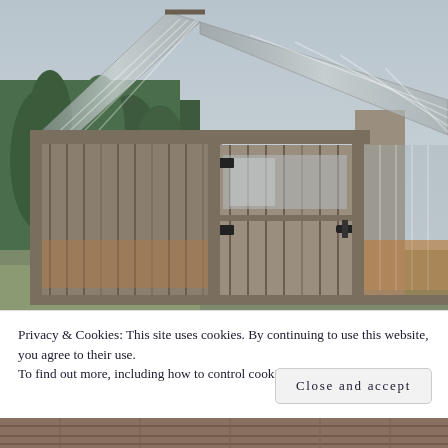[Figure (photo): Exterior view of a rustic wooden greenhouse structure with weathered grey barnwood vertical siding, a steep A-frame corrugated transparent roof panel, and a half-door with black iron hinges and hardware. Background shows evergreen trees and overcast sky.]
Privacy & Cookies: This site uses cookies. By continuing to use this website, you agree to their use.
To find out more, including how to control cookies, see here: Cookie Policy
Close and accept
[Figure (photo): Partial view of weathered wooden deck or boardwalk planks at bottom of page.]